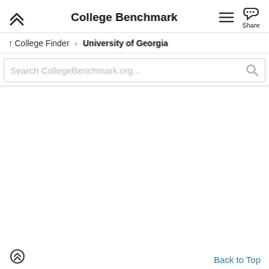College Benchmark
↑ College Finder   University of Georgia
Search CollegeBenchmark.org...
Back to Top